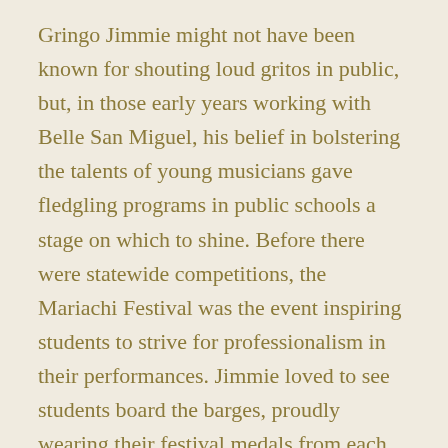Gringo Jimmie might not have been known for shouting loud gritos in public, but, in those early years working with Belle San Miguel, his belief in bolstering the talents of young musicians gave fledgling programs in public schools a stage on which to shine. Before there were statewide competitions, the Mariachi Festival was the event inspiring students to strive for professionalism in their performances. Jimmie loved to see students board the barges, proudly wearing their festival medals from each year they had participated.
This spring will bring the 44th annual Fiesta Mariachi Festival. Jimmie was there for 42.